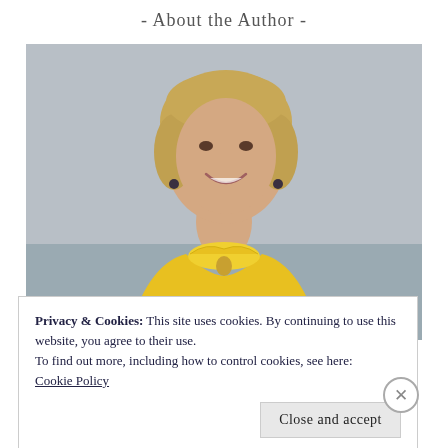- About the Author -
[Figure (photo): Portrait photo of a blonde woman wearing a yellow sleeveless ruffled top, smiling, against a grey wall background.]
Privacy & Cookies: This site uses cookies. By continuing to use this website, you agree to their use.
To find out more, including how to control cookies, see here:
Cookie Policy
Close and accept